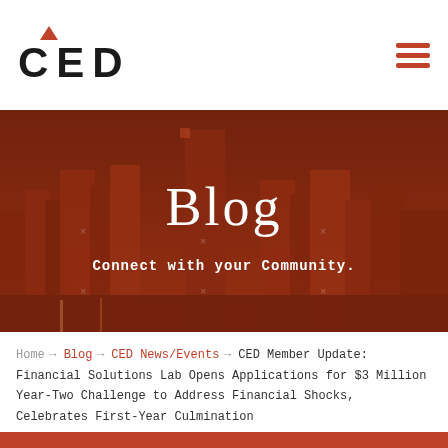CED
[Figure (photo): Hero banner with city skyline background overlaid with dark red/brown tint, showing 'Blog' as title and 'Connect with your Community.' as subtitle]
Blog
Connect with your Community.
Home → Blog → CED News/Events → CED Member Update: Financial Solutions Lab Opens Applications for $3 Million Year-Two Challenge to Address Financial Shocks, Celebrates First-Year Culmination